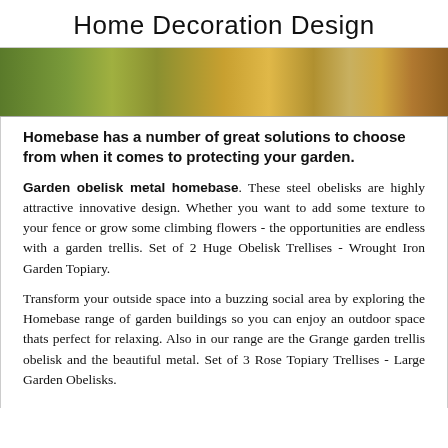Home Decoration Design
[Figure (photo): Outdoor garden photo showing green plants, orange/wooden structure, stone path, and mulch ground cover]
Homebase has a number of great solutions to choose from when it comes to protecting your garden.
Garden obelisk metal homebase. These steel obelisks are highly attractive innovative design. Whether you want to add some texture to your fence or grow some climbing flowers - the opportunities are endless with a garden trellis. Set of 2 Huge Obelisk Trellises - Wrought Iron Garden Topiary.
Transform your outside space into a buzzing social area by exploring the Homebase range of garden buildings so you can enjoy an outdoor space thats perfect for relaxing. Also in our range are the Grange garden trellis obelisk and the beautiful metal. Set of 3 Rose Topiary Trellises - Large Garden Obelisks.